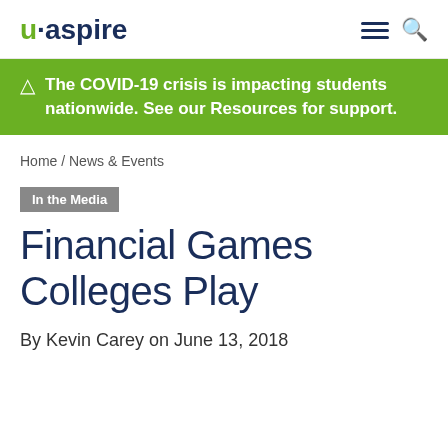u·aspire
The COVID-19 crisis is impacting students nationwide. See our Resources for support.
Home / News & Events
In the Media
Financial Games Colleges Play
By Kevin Carey on June 13, 2018